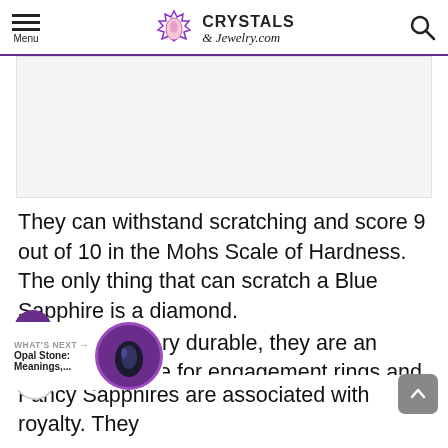Menu | CRYSTALS & Jewelry.com
[Figure (other): Advertisement banner placeholder, light gray rectangle]
They can withstand scratching and score 9 out of 10 in the Mohs Scale of Hardness. The only thing that can scratch a Blue Sapphire is a diamond. Because it's very durable, they are an excellent choice for engagement rings and other jewelry pieces on wearing on a daily basis.
Fancy Sapphires are associated with royalty. They